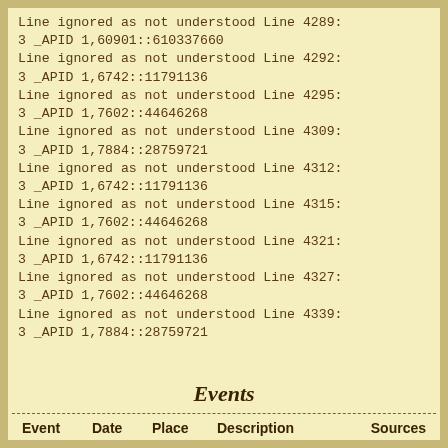Line ignored as not understood Line 4289:
3 _APID 1,60901::610337660
Line ignored as not understood Line 4292:
3 _APID 1,6742::11791136
Line ignored as not understood Line 4295:
3 _APID 1,7602::44646268
Line ignored as not understood Line 4309:
3 _APID 1,7884::28759721
Line ignored as not understood Line 4312:
3 _APID 1,6742::11791136
Line ignored as not understood Line 4315:
3 _APID 1,7602::44646268
Line ignored as not understood Line 4321:
3 _APID 1,6742::11791136
Line ignored as not understood Line 4327:
3 _APID 1,7602::44646268
Line ignored as not understood Line 4339:
3 _APID 1,7884::28759721
Events
| Event | Date | Place | Description | Sources |
| --- | --- | --- | --- | --- |